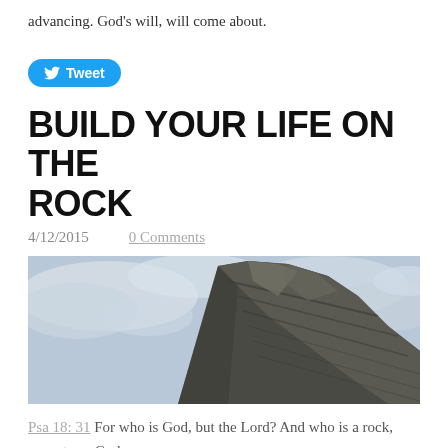advancing. God's will, will come about.
Tweet
BUILD YOUR LIFE ON THE ROCK
4/12/2015    0 Comments
[Figure (photo): A dramatic close-up photograph of a large rocky cliff or boulder against a cloudy sky. The rock face shows layered striations and the perspective is looking up at the rocky formation.]
Psa 18: 31 For who is God, but the Lord? And who is a rock, except our God,